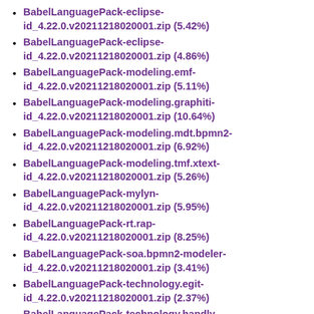BabelLanguagePack-eclipse-id_4.22.0.v20211218020001.zip (5.42%)
BabelLanguagePack-eclipse-id_4.22.0.v20211218020001.zip (4.86%)
BabelLanguagePack-modeling.emf-id_4.22.0.v20211218020001.zip (5.11%)
BabelLanguagePack-modeling.graphiti-id_4.22.0.v20211218020001.zip (10.64%)
BabelLanguagePack-modeling.mdt.bpmn2-id_4.22.0.v20211218020001.zip (6.92%)
BabelLanguagePack-modeling.tmf.xtext-id_4.22.0.v20211218020001.zip (5.26%)
BabelLanguagePack-mylyn-id_4.22.0.v20211218020001.zip (5.95%)
BabelLanguagePack-rt.rap-id_4.22.0.v20211218020001.zip (8.25%)
BabelLanguagePack-soa.bpmn2-modeler-id_4.22.0.v20211218020001.zip (3.41%)
BabelLanguagePack-technology.egit-id_4.22.0.v20211218020001.zip (2.37%)
BabelLanguagePack-technology.handly-id_4.22.0.v20211218020001.zip (6.98%)
BabelLanguagePack-technology.jgit-id_4.22.0.v20211218020001.zip (0.46%)
BabelLanguagePack-technology.lsp4e-id_4.22.0.v20211218020001.zip (4.05%)
BabelLanguagePack-technology.packaging-id_4.22.0.v20211218020001.zip (0.49%)
BabelLanguagePack-technology.packaging.mpc-id_4.22.0.v20211218020001.zip (1.32%)
BabelLanguagePack-technology.passage-